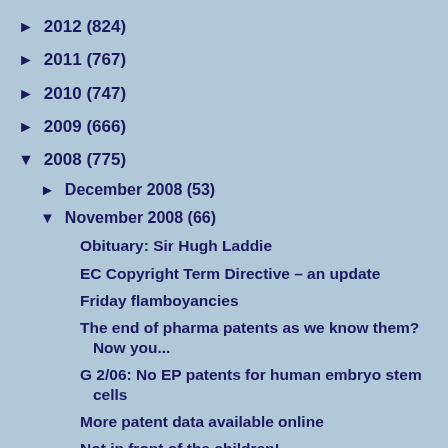► 2012 (824)
► 2011 (767)
► 2010 (747)
► 2009 (666)
▼ 2008 (775)
► December 2008 (53)
▼ November 2008 (66)
Obituary: Sir Hugh Laddie
EC Copyright Term Directive – an update
Friday flamboyancies
The end of pharma patents as we know them? Now you...
G 2/06: No EP patents for human embryo stem cells
More patent data available online
Not in front of the children!
Intel v CPM – ECJ judgment
European dilution: breaking news